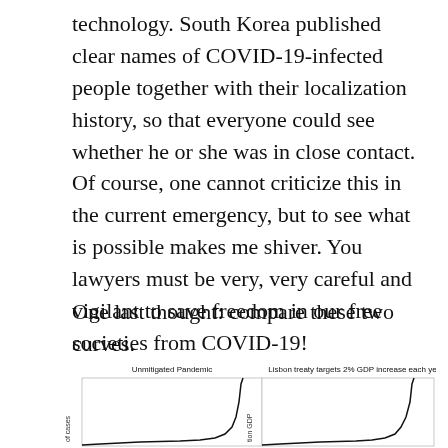technology. South Korea published clear names of COVID-19-infected people together with their localization history, so that everyone could see whether he or she was in close contact. Of course, one cannot criticize this in the current emergency, but to see what is possible makes me shiver. You lawyers must be very, very careful and vigilant to save freedom in our free societies from COVID-19!
One last thought: compare these two curves.
[Figure (continuous-plot): Two side-by-side line charts partially visible. Left chart titled 'Unmitigated Pandemic' with y-axis label 'of cases' showing an exponential/steep curve rising sharply on the right. Right chart titled 'Lisbon treaty targets 2% GDP increase each year' with y-axis label 'tion GDP' showing a similarly shaped steeply rising curve on the right side.]